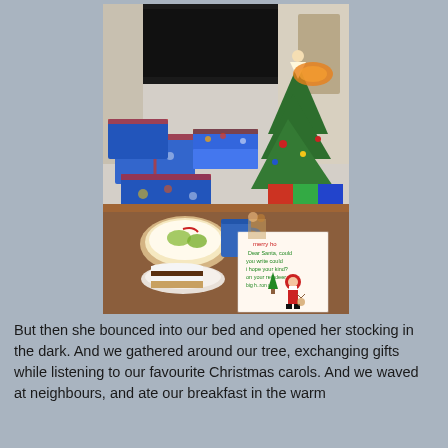[Figure (photo): A Christmas morning scene showing a table and floor covered with wrapped presents in blue and colorful gift wrap, a small Christmas tree with ornaments and an angel topper on the right, and in the foreground a wooden table with a bowl of food, a blue mug, a plate with cake, and a hand-drawn letter to Santa featuring a Santa Claus drawing and Christmas trees.]
But then she bounced into our bed and opened her stocking in the dark. And we gathered around our tree, exchanging gifts while listening to our favourite Christmas carols. And we waved at neighbours, and ate our breakfast in the warm